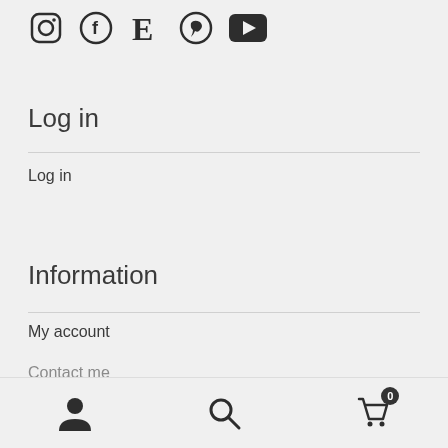[Figure (other): Social media icons: Instagram, Facebook, Etsy (E), Pinterest, YouTube]
Log in
Log in
Information
My account
Contact me
[Figure (other): Bottom navigation bar with user icon, search icon, and cart icon with badge showing 0]